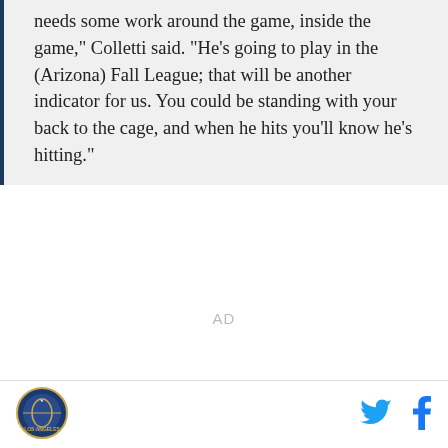needs some work around the game, inside the game," Colletti said. "He's going to play in the (Arizona) Fall League; that will be another indicator for us. You could be standing with your back to the cage, and when he hits you'll know he's hitting."
AD
[Figure (logo): Los Angeles Dodgers circular logo]
[Figure (logo): Twitter bird icon]
[Figure (logo): Facebook f icon]